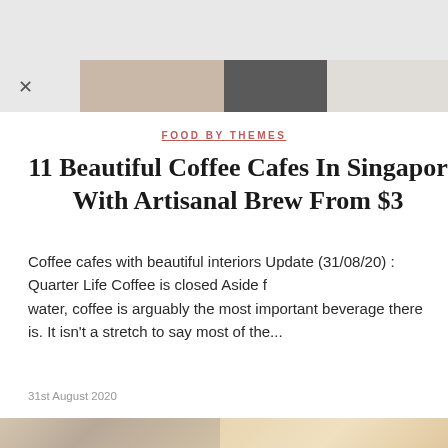[Figure (photo): Partial top image strip showing café interior and food photos, cropped]
×
FOOD BY THEMES
11 Beautiful Coffee Cafes In Singapore With Artisanal Brew From $3
Coffee cafes with beautiful interiors Update (31/08/20) : Quarter Life Coffee is closed Aside from water, coffee is arguably the most important beverage there is. It isn't a stretch to say most of the...
31st August 2020
[Figure (photo): Two café photos side by side: left shows café counter with shelving, right shows a dessert/food item on a plate]